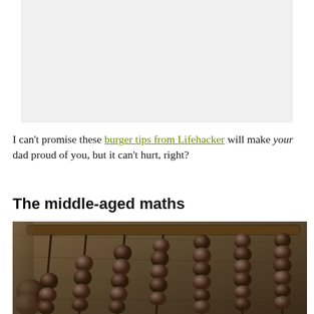[Figure (photo): Light gray rectangular placeholder image at the top of the page]
I can't promise these burger tips from Lifehacker will make your dad proud of you, but it can't hurt, right?
The middle-aged maths
[Figure (photo): Close-up photograph of a vintage wooden abacus with dark brown beads on metal rods, shot at an angle on a wooden surface]